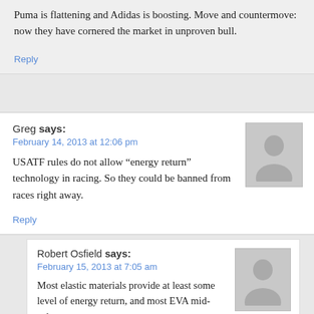Puma is flattening and Adidas is boosting. Move and countermove: now they have cornered the market in unproven bull.
Reply
Greg says:
February 14, 2013 at 12:06 pm
USATF rules do not allow “energy return” technology in racing. So they could be banned from races right away.
Reply
Robert Osfield says:
February 15, 2013 at 7:05 am
Most elastic materials provide at least some level of energy return, and most EVA mid-soles